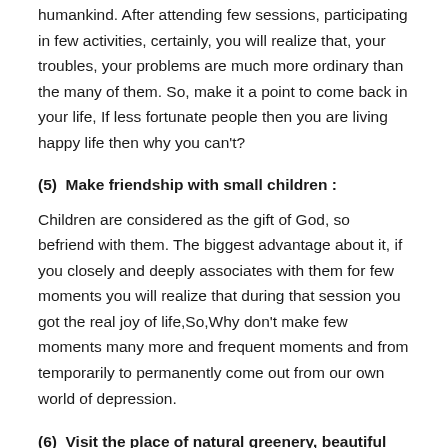humankind. After attending few sessions, participating in few activities, certainly, you will realize that, your troubles, your problems are much more ordinary than the many of them. So, make it a point to come back in your life, If less fortunate people then you are living happy life then why you can't?
(5)  Make friendship with small children :
Children are considered as the gift of God, so befriend with them. The biggest advantage about it, if you closely and deeply associates with them for few moments you will realize that during that session you got the real joy of life,So,Why don't make few moments many more and frequent moments and from temporarily to permanently come out from our own world of depression.
(6)  Visit the place of natural greenery, beautiful scenery and wonderful view.